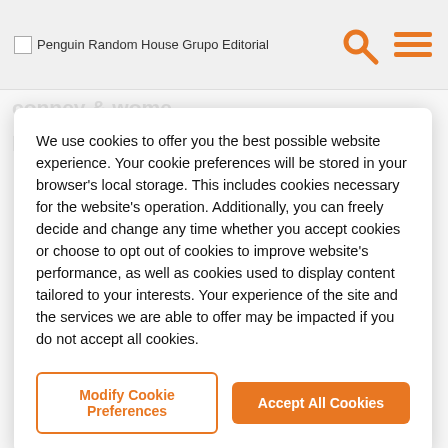Penguin Random House Grupo Editorial
We use cookies to offer you the best possible website experience. Your cookie preferences will be stored in your browser's local storage. This includes cookies necessary for the website's operation. Additionally, you can freely decide and change any time whether you accept cookies or choose to opt out of cookies to improve website's performance, as well as cookies used to display content tailored to your interests. Your experience of the site and the services we are able to offer may be impacted if you do not accept all cookies.
Modify Cookie Preferences
Accept All Cookies